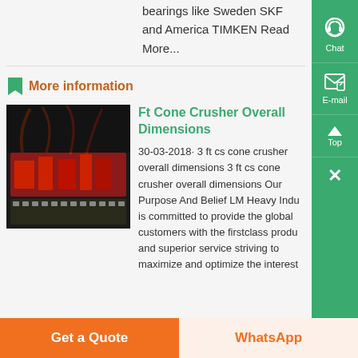bearings like Sweden SKF and America TIMKEN Read More...
More information
[Figure (photo): Industrial machinery or electronic component with red parts and circuit board visible]
Ft Cone Crusher Overall Dimensions
30-03-2018· 3 ft cs cone crusher overall dimensions 3 ft cs cone crusher overall dimensions Our Purpose And Belief LM Heavy Indu is committed to provide the global customers with the firstclass produ and superior service striving to maximize and optimize the interest
Get a Quote | WhatsApp